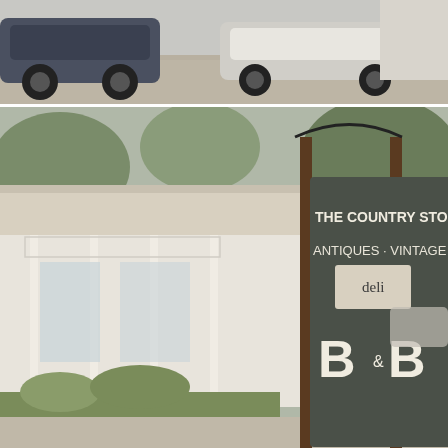[Figure (photo): Partial view of a parking lot with cars parked on gravel, top portion cropped]
[Figure (photo): The Country Store exterior with white veranda/awning and a chalkboard sign reading 'THE COUNTRY STORE ANTIQUES VINTAGE deli B&B']
Click on the images below to view Guest House Rooms & Self-Catering Accommodation:
[Figure (photo): A bright white guest house bedroom with white bedding, two bedside lamps, and a tufted headboard]